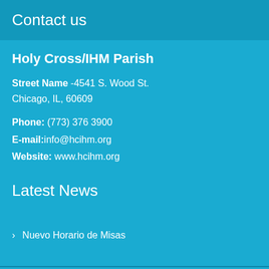Contact us
Holy Cross/IHM Parish
Street Name -4541 S. Wood St.
Chicago, IL, 60609
Phone: (773) 376 3900
E-mail: info@hcihm.org
Website: www.hcihm.org
Latest News
Nuevo Horario de Misas